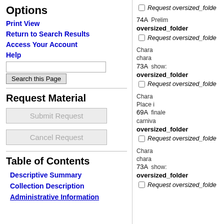Options
Print View
Return to Search Results
Access Your Account
Help
Search this Page (search input + button)
Request Material
Submit Request
Cancel Request
Table of Contents
Descriptive Summary
Collection Description
Administrative Information
Request oversized_folde (checkbox)
74A  Prelim  oversized_folder  Request oversized_folde
73A  Chara chara show:  oversized_folder  Request oversized_folde
69A  Chara Place i finale carniva  oversized_folder  Request oversized_folde
73A  Chara chara show:  oversized_folder  Request oversized_folde